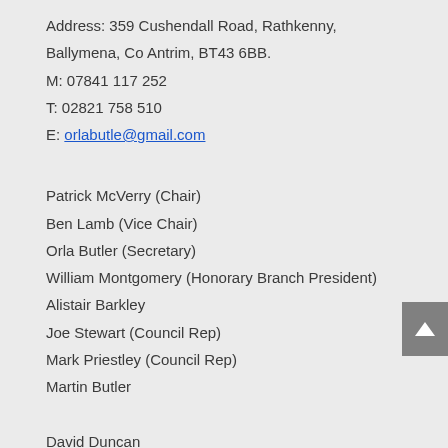Address: 359 Cushendall Road, Rathkenny,
Ballymena, Co Antrim, BT43 6BB.
M: 07841 117 252
T: 02821 758 510
E: orlabutle@gmail.com
Patrick McVerry (Chair)
Ben Lamb (Vice Chair)
Orla Butler (Secretary)
William Montgomery (Honorary Branch President)
Alistair Barkley
Joe Stewart (Council Rep)
Mark Priestley (Council Rep)
Martin Butler
David Duncan